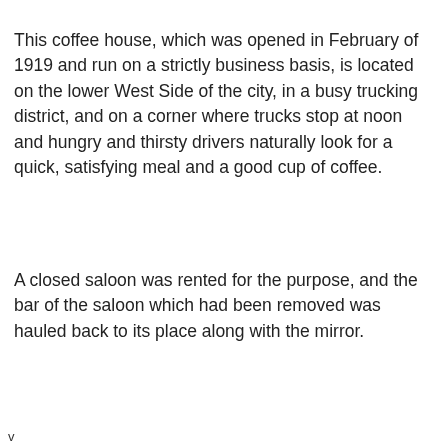This coffee house, which was opened in February of 1919 and run on a strictly business basis, is located on the lower West Side of the city, in a busy trucking district, and on a corner where trucks stop at noon and hungry and thirsty drivers naturally look for a quick, satisfying meal and a good cup of coffee.
A closed saloon was rented for the purpose, and the bar of the saloon which had been removed was hauled back to its place along with the mirror.